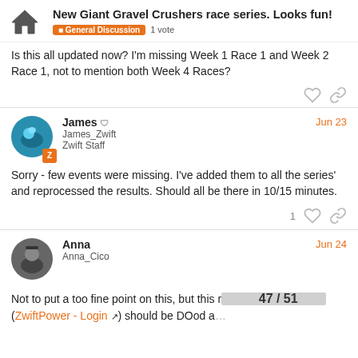New Giant Gravel Crushers race series. Looks fun! | General Discussion | 1 vote
Is this all updated now? I'm missing Week 1 Race 1 and Week 2 Race 1, not to mention both Week 4 Races?
James James_Zwift Zwift Staff | Jun 23
Sorry - few events were missing. I've added them to all the series' and reprocessed the results. Should all be there in 10/15 minutes.
Anna Anna_Cico | Jun 24
Not to put a too fine point on this, but this r... (ZwiftPower - Login) should be DOod a...
47 / 51